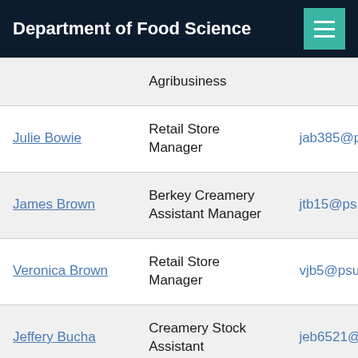Department of Food Science
| Name | Role | Email |
| --- | --- | --- |
|  | Agribusiness |  |
| Julie Bowie | Retail Store Manager | jab385@p |
| James Brown | Berkey Creamery Assistant Manager | jtb15@ps |
| Veronica Brown | Retail Store Manager | vjb5@psu |
| Jeffery Bucha | Creamery Stock Assistant | jeb6521@ |